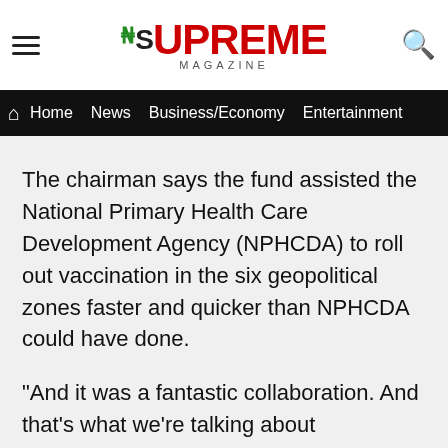[Figure (logo): Supreme Magazine logo with hamburger menu and search icon]
Home  News  Business/Economy  Entertainment
The chairman says the fund assisted the National Primary Health Care Development Agency (NPHCDA) to roll out vaccination in the six geopolitical zones faster and quicker than NPHCDA could have done.
"And it was a fantastic collaboration. And that's what we're talking about strengthening.
"We're not trying to reinvent the wheel. We're not